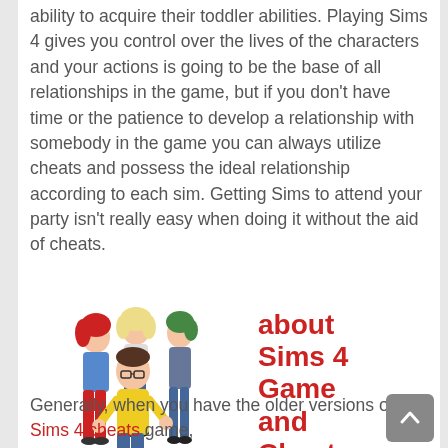ability to acquire their toddler abilities. Playing Sims 4 gives you control over the lives of the characters and your actions is going to be the base of all relationships in the game, but if you don't have time or the patience to develop a relationship with somebody in the game you can always utilize cheats and possess the ideal relationship according to each sim. Getting Sims to attend your party isn't really easy when doing it without the aid of cheats.
[Figure (illustration): Group of four Sims 4 characters posing together: a woman with red hair, a blonde woman, a person with green hair, and a man in a yellow shirt in front.]
about Sims 4 Game and Cheats Help!
Generally, when you have the older versions of the Sims 4 cheats game,